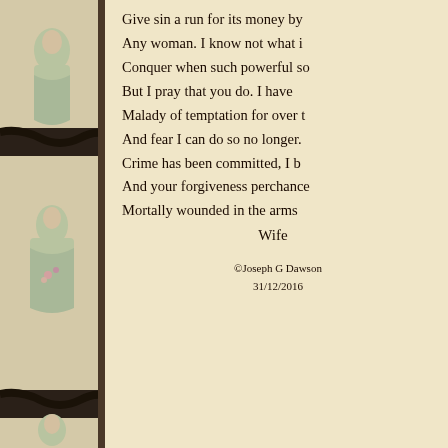[Figure (illustration): Decorative left border strip with repeated Victorian-style illustrations of women in period dress (green/sage tones) separated by dark wavy serpentine decorative elements on a tan/brown background.]
Give sin a run for its money by
Any woman. I know not what i
Conquer when such powerful so
But I pray that you do. I have
Malady of temptation for over t
And fear I can do so no longer.
Crime has been committed, I b
And your forgiveness perchance
Mortally wounded in the arms
Wife
©Joseph G Dawson
31/12/2016